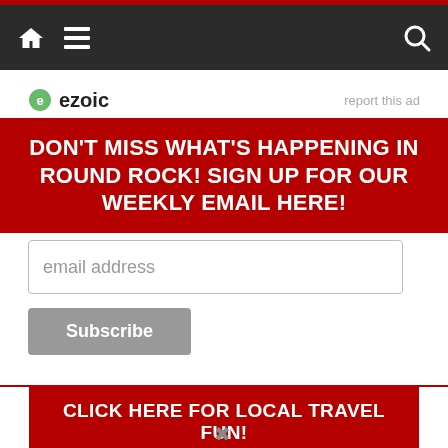Navigation bar with home, menu, and search icons
ezoic   report this ad
DON'T MISS WHAT'S HAPPENING IN ROUND ROCK! SIGN UP FOR OUR WEEKLY EMAIL HERE!
email address
Subscribe
CLICK HERE FOR LOCAL TRAVEL FUN!